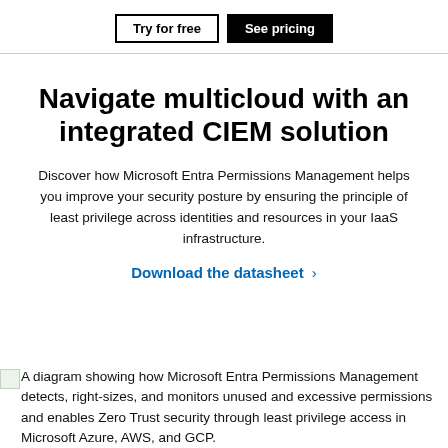Try for free | See pricing
Navigate multicloud with an integrated CIEM solution
Discover how Microsoft Entra Permissions Management helps you improve your security posture by ensuring the principle of least privilege across identities and resources in your IaaS infrastructure.
Download the datasheet >
[Figure (illustration): A diagram showing how Microsoft Entra Permissions Management detects, right-sizes, and monitors unused and excessive permissions and enables Zero Trust security through least privilege access in Microsoft Azure, AWS, and GCP.]